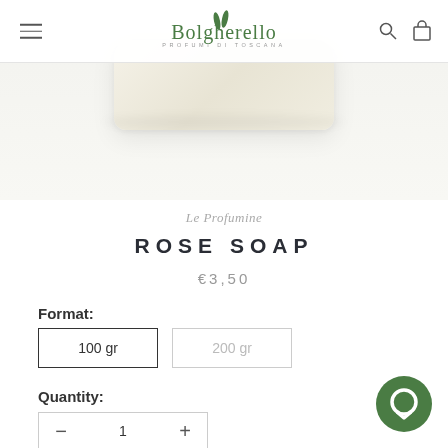[Figure (screenshot): E-commerce product page for Bolgherello Profumi di Toscana featuring a Rose Soap product]
Bolgherello PROFUMI DI TOSCANA
[Figure (photo): White/cream colored soap bar on light background]
Le Profumine
ROSE SOAP
€3,50
Format:
100 gr
200 gr
Quantity: